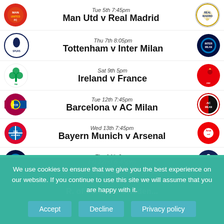Tue 5th 7:45pm — Man Utd v Real Madrid
Thu 7th 8:05pm — Tottenham v Inter Milan
Sat 9th 5pm — Ireland v France
Tue 12th 7:45pm — Barcelona v AC Milan
Wed 13th 7:45pm — Bayern Munich v Arsenal
Thu 14th 6pm — Inter Milan v Tottenham
We use cookies to ensure that we give you the best experience on our website. If you continue to use this site we will assume that you are happy with it.
Accept | Decline | Privacy policy